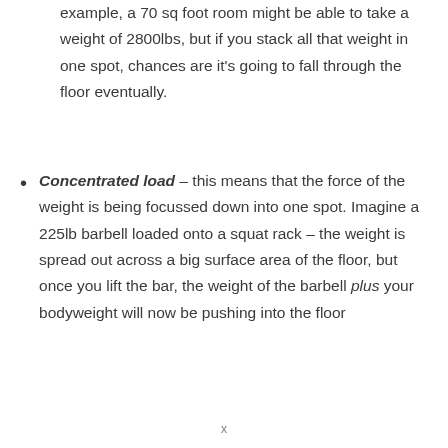example, a 70 sq foot room might be able to take a weight of 2800lbs, but if you stack all that weight in one spot, chances are it's going to fall through the floor eventually.
Concentrated load – this means that the force of the weight is being focussed down into one spot. Imagine a 225lb barbell loaded onto a squat rack – the weight is spread out across a big surface area of the floor, but once you lift the bar, the weight of the barbell plus your bodyweight will now be pushing into the floor
x